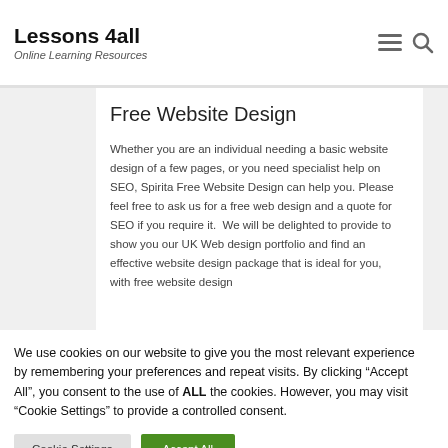Lessons 4all — Online Learning Resources
Free Website Design
Whether you are an individual needing a basic website design of a few pages, or you need specialist help on SEO, Spirita Free Website Design can help you. Please feel free to ask us for a free web design and a quote for SEO if you require it.  We will be delighted to provide to show you our UK Web design portfolio and find an effective website design package that is ideal for you, with free website design
We use cookies on our website to give you the most relevant experience by remembering your preferences and repeat visits. By clicking "Accept All", you consent to the use of ALL the cookies. However, you may visit "Cookie Settings" to provide a controlled consent.